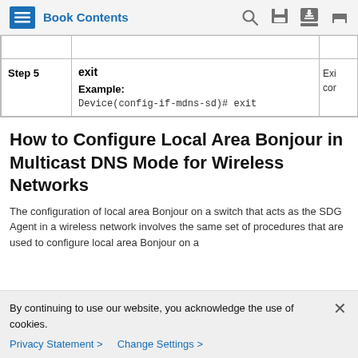Book Contents
|  | Command or Action | Purpose |
| --- | --- | --- |
|  |  |  |
| Step 5 | exit
Example:
Device(config-if-mdns-sd)# exit | Exits con... |
How to Configure Local Area Bonjour in Multicast DNS Mode for Wireless Networks
The configuration of local area Bonjour on a switch that acts as the SDG Agent in a wireless network involves the same set of procedures that are used to configure local area Bonjour on a
By continuing to use our website, you acknowledge the use of cookies.
Privacy Statement >  Change Settings >